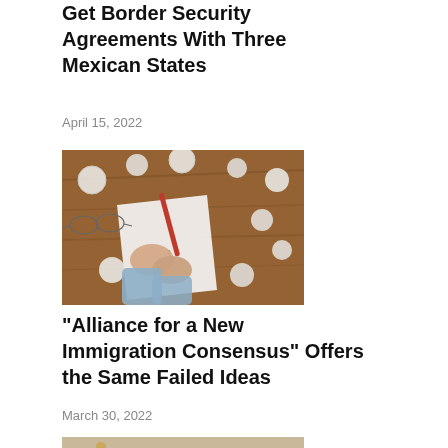Get Border Security Agreements With Three Mexican States
April 15, 2022
[Figure (photo): Person crumpling paper at a desk with scattered crumpled paper balls and a pen on a wooden surface]
“Alliance for a New Immigration Consensus” Offers the Same Failed Ideas
March 30, 2022
[Figure (photo): Close-up of a fountain pen on a document with text reading IMMIGRATION, with a stamp or seal visible]